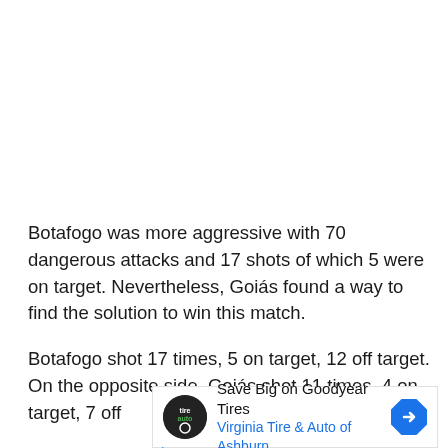Botafogo was more aggressive with 70 dangerous attacks and 17 shots of which 5 were on target. Nevertheless, Goiás found a way to find the solution to win this match.
Botafogo shot 17 times, 5 on target, 12 off target. On the opposite side, Goiás shot 11 times, 4 on target, 7 off
[Figure (other): Advertisement for Virginia Tire & Auto of Ashburn featuring Goodyear Tires logo and a blue navigation arrow icon]